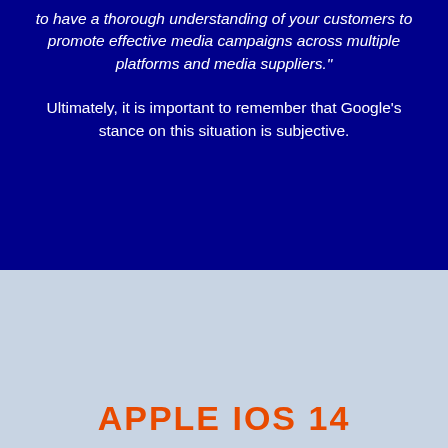to have a thorough understanding of your customers to promote effective media campaigns across multiple platforms and media suppliers."
Ultimately, it is important to remember that Google's stance on this situation is subjective.
APPLE IOS 14